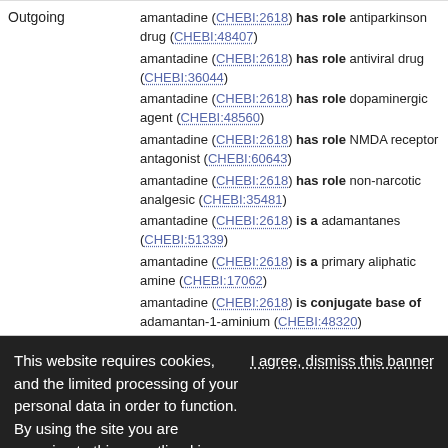amantadine (CHEBI:2618) has role antiparkinson drug (CHEBI:48407)
amantadine (CHEBI:2618) has role antiviral drug (CHEBI:36044)
amantadine (CHEBI:2618) has role dopaminergic agent (CHEBI:48560)
amantadine (CHEBI:2618) has role NMDA receptor antagonist (CHEBI:60643)
amantadine (CHEBI:2618) has role non-narcotic analgesic (CHEBI:35481)
amantadine (CHEBI:2618) is a adamantanes (CHEBI:51339)
amantadine (CHEBI:2618) is a primary aliphatic amine (CHEBI:17062)
amantadine (CHEBI:2618) is conjugate base of adamantan-1-aminium (CHEBI:48320)
Outgoing
Incoming
adamantan-1-aminium (CHEBI:48320) is
This website requires cookies, and the limited processing of your personal data in order to function. By using the site you are agreeing to this as outlined in our Privacy Notice and Terms of Use.
I agree, dismiss this banner